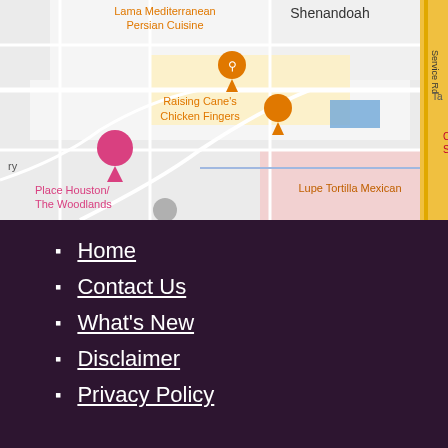[Figure (map): Google Maps screenshot showing area near Shenandoah, TX with markers for Lama Mediterranean Persian Cuisine (orange food pin), Raising Cane's Chicken Fingers (orange food pin), Place Houston/The Woodlands (pink hotel pin), Lupe Tortilla Mexican (text label), and Crowne Plaza Shenandoah (partially visible). A yellow highway runs along the right edge. Roads shown in white/light gray on a gray background with pink and yellow highlighted areas.]
Home
Contact Us
What's New
Disclaimer
Privacy Policy